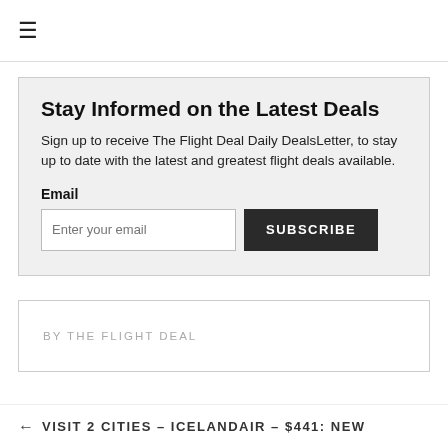≡
Stay Informed on the Latest Deals
Sign up to receive The Flight Deal Daily DealsLetter, to stay up to date with the latest and greatest flight deals available.
Email
Enter your email  SUBSCRIBE
BY THE FLIGHT DEAL
← VISIT 2 CITIES – ICELANDAIR – $441: NEW